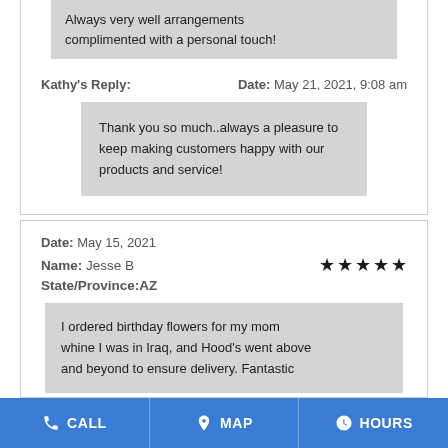Always very well arrangements complimented with a personal touch!
Kathy's Reply:     Date: May 21, 2021, 9:08 am
Thank you so much..always a pleasure to keep making customers happy with our products and service!
Date: May 15, 2021
Name: Jesse B
State/Province:AZ
I ordered birthday flowers for my mom whine I was in Iraq, and Hood's went above and beyond to ensure delivery. Fantastic
CALL  MAP  HOURS